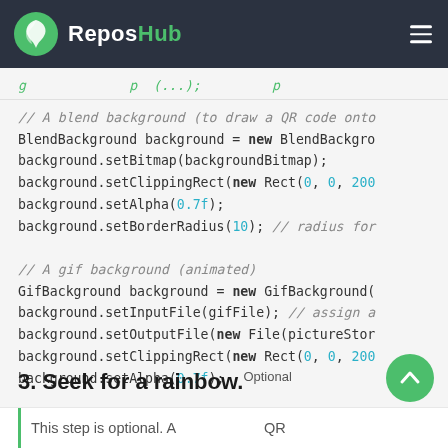ReposHub
// A blend background (to draw a QR code onto
BlendBackground background = new BlendBackgro
background.setBitmap(backgroundBitmap);
background.setClippingRect(new Rect(0, 0, 200
background.setAlpha(0.7f);
background.setBorderRadius(10); // radius for

// A gif background (animated)
GifBackground background = new GifBackground(
background.setInputFile(gifFile); // assign a
background.setOutputFile(new File(pictureStor
background.setClippingRect(new Rect(0, 0, 200
background.setAlpha(0.7f);
3. Seek for a rainbow.Optional
This step is optional. A ... QR